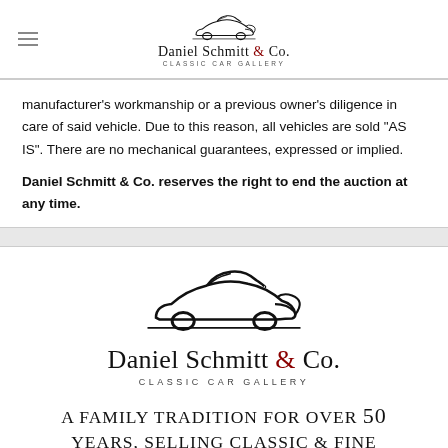Daniel Schmitt & Co. Classic Car Gallery
manufacturer’s workmanship or a previous owner’s diligence in care of said vehicle. Due to this reason, all vehicles are sold “AS IS”. There are no mechanical guarantees, expressed or implied. Daniel Schmitt & Co. reserves the right to end the auction at any time.
[Figure (logo): Daniel Schmitt & Co. Classic Car Gallery logo with classic car silhouette above the text]
A FAMILY TRADITION FOR OVER 50 YEARS, SELLING CLASSIC & FINE MOTORCARS THROUGHOUT THE WORLD